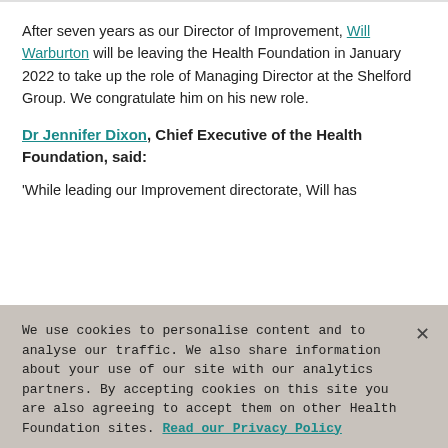After seven years as our Director of Improvement, Will Warburton will be leaving the Health Foundation in January 2022 to take up the role of Managing Director at the Shelford Group. We congratulate him on his new role.
Dr Jennifer Dixon, Chief Executive of the Health Foundation, said:
'While leading our Improvement directorate, Will has
We use cookies to personalise content and to analyse our traffic. We also share information about your use of our site with our analytics partners. By accepting cookies on this site you are also agreeing to accept them on other Health Foundation sites. Read our Privacy Policy